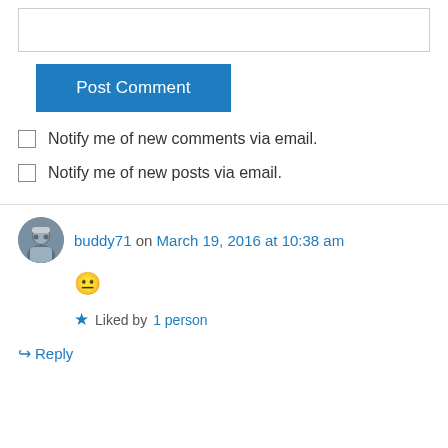[Figure (screenshot): Empty text input textarea box with border]
Post Comment
Notify me of new comments via email.
Notify me of new posts via email.
buddy71 on March 19, 2016 at 10:38 am
😐
Liked by 1 person
Reply